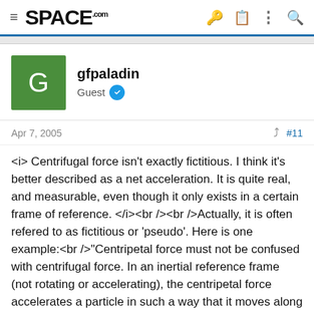SPACE.com
gfpaladin
Guest
Apr 7, 2005  #11
<i> Centrifugal force isn't exactly fictitious. I think it's better described as a net acceleration. It is quite real, and measurable, even though it only exists in a certain frame of reference. </i><br /><br />Actually, it is often refered to as fictitious or 'pseudo'. Here is one example:<br />"Centripetal force must not be confused with centrifugal force. In an inertial reference frame (not rotating or accelerating), the centripetal force accelerates a particle in such a way that it moves along a circular path. In a corotating reference frame, a particle in circular motion has zero velocity. In this case, the centripetal force appears to be exactly cancelled by a pseudo-force, the centrifugal force. Centripetal forces are true forces, appearing in